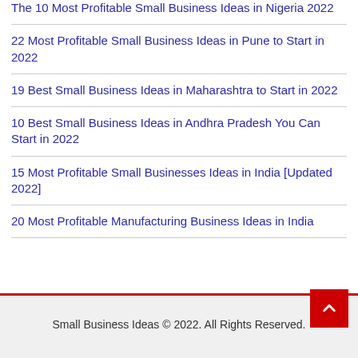The 10 Most Profitable Small Business Ideas in Nigeria 2022
22 Most Profitable Small Business Ideas in Pune to Start in 2022
19 Best Small Business Ideas in Maharashtra to Start in 2022
10 Best Small Business Ideas in Andhra Pradesh You Can Start in 2022
15 Most Profitable Small Businesses Ideas in India [Updated 2022]
20 Most Profitable Manufacturing Business Ideas in India
Small Business Ideas © 2022. All Rights Reserved.